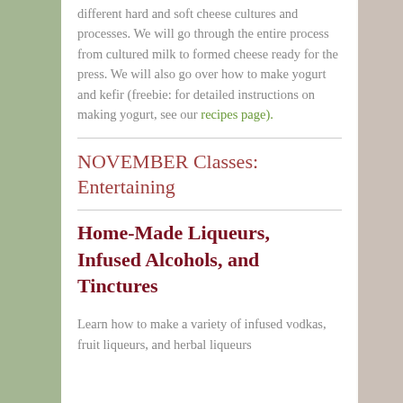different hard and soft cheese cultures and processes. We will go through the entire process from cultured milk to formed cheese ready for the press. We will also go over how to make yogurt and kefir (freebie: for detailed instructions on making yogurt, see our recipes page).
NOVEMBER Classes: Entertaining
Home-Made Liqueurs, Infused Alcohols, and Tinctures
Learn how to make a variety of infused vodkas, fruit liqueurs, and herbal liqueurs